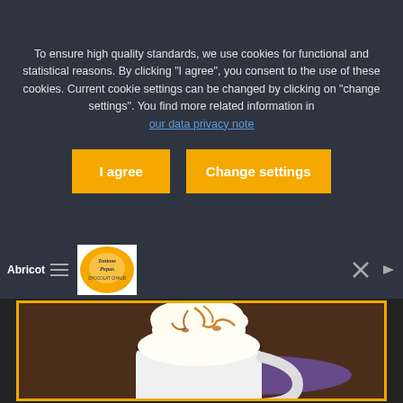To ensure high quality standards, we use cookies for functional and statistical reasons. By clicking "I agree", you consent to the use of these cookies. Current cookie settings can be changed by clicking on "change settings". You find more related information in our data privacy note
I agree
Change settings
[Figure (screenshot): Navigation bar with hamburger menu, Tontons Pepas logo, and controls on dark background. Text 'Abricot' visible.]
[Figure (photo): Photo of a white enamel mug filled with whipped cream and caramel sauce drizzle, placed on a purple mat on a wooden table, inside a yellow-bordered frame.]